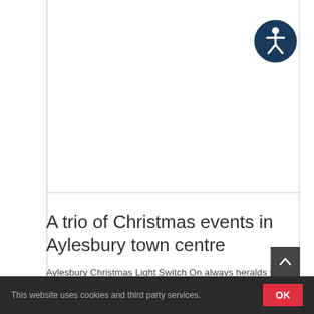[Figure (logo): Accessibility icon — dark navy circle with white human figure (wheelchair accessibility symbol)]
A trio of Christmas events in Aylesbury town centre
Aylesbury Christmas Light Switch On always heralds the
This website uses cookies and third party services.